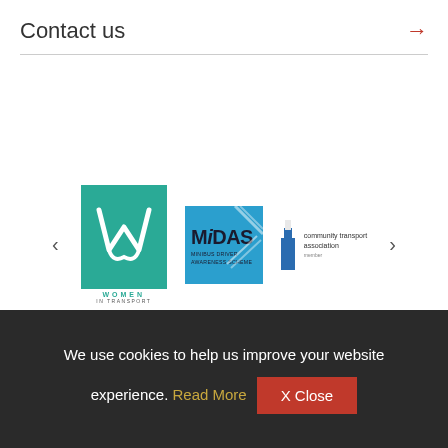Contact us →
[Figure (logo): Women in Transport logo - teal square with white W letterform and text WOMEN IN TRANSPORT below]
[Figure (logo): MIDAS - Minibus Driver Awareness Scheme logo - blue square with MIDAS text]
[Figure (logo): Community Transport Association logo - blue and grey text with building icon]
We use cookies to help us improve your website experience. Read More  X Close